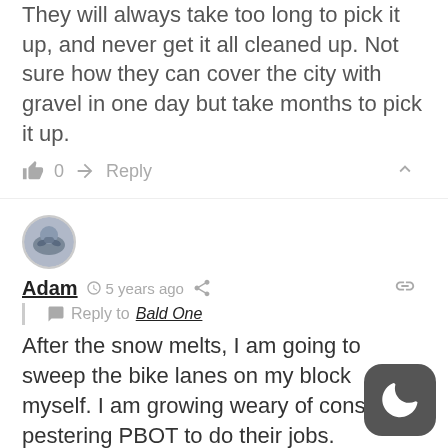They will always take too long to pick it up, and never get it all cleaned up. Not sure how they can cover the city with gravel in one day but take months to pick it up.
0  Reply
[Figure (photo): User avatar for Adam - circular profile photo showing a bicycle]
Adam  5 years ago
Reply to Bald One
After the snow melts, I am going to sweep the bike lanes on my block myself. I am growing weary of constantly pestering PBOT to do their jobs.
0  Reply
[Figure (photo): User avatar for wsbob - circular profile photo with purple/magenta tile pattern]
wsbob  5 years ago
[Figure (logo): Dark mode toggle button - dark gray rounded square with crescent moon icon]